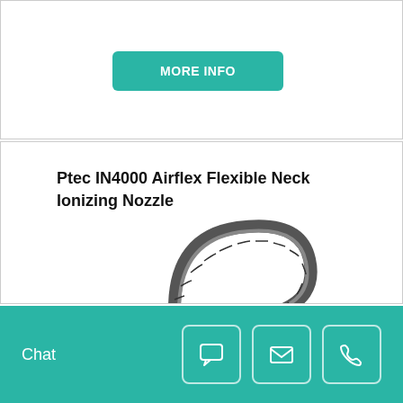MORE INFO
Ptec IN4000 Airflex Flexible Neck Ionizing Nozzle
[Figure (photo): Photo of the Ptec IN4000 Airflex Flexible Neck Ionizing Nozzle showing a flexible metallic gooseneck tube]
Chat